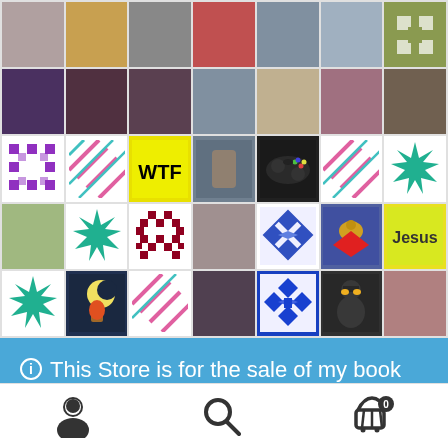[Figure (screenshot): A 7x5 grid of user avatar thumbnails and decorative icon tiles from a social/store platform. Row 1: woman in sunglasses, golden fruit/map pattern, black-and-white woman smiling, woman in red dress, middle-aged man, young woman, green patterned logo. Row 2: anime-style person with headphones, woman with phone, young woman portrait, older man with glasses, sculpture/robot, woman with curly hair, person outdoors. Row 3: purple pixel pattern, diagonal pink/teal arrows, yellow tile with 'WTF' text, person holding large fish, black Xbox controller, diagonal pink/teal arrows, teal spiky star. Row 4: smiling woman outdoors, teal spiky star, red pixel pattern, elderly woman portrait, blue geometric snowflake, colorful eagle logo, yellow tile with 'Jesus' text. Row 5: teal spiky star, night sky with hot air balloon, pink diagonal arrows, young woman portrait, blue snowflake pattern, ninja character, older man portrait.]
This Store is for the sale of my book and will add other items as and when I have them.
Dismiss